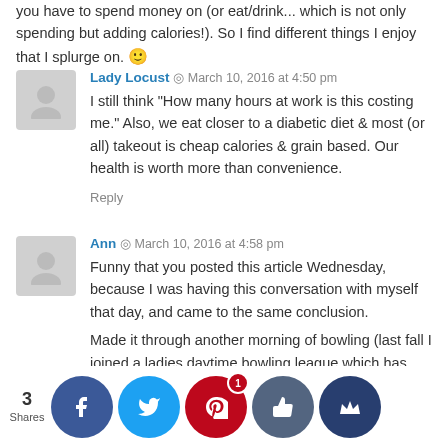you have to spend money on (or eat/drink... which is not only spending but adding calories!). So I find different things I enjoy that I splurge on. 🙂
Reply
Lady Locust  ◎  March 10, 2016 at 4:50 pm
I still think "How many hours at work is this costing me." Also, we eat closer to a diabetic diet & most (or all) takeout is cheap calories & grain based. Our health is worth more than convenience.
Reply
Ann  ◎  March 10, 2016 at 4:58 pm
Funny that you posted this article Wednesday, because I was having this conversation with myself that day, and came to the same conclusion.
Made it through another morning of bowling (last fall I joined a ladies daytime bowling league which has turned into the bane of my week...only 4 more weeks).
I'm (husband at work, daughter is at... The I deserve a treat m... a decision...
3 Shares